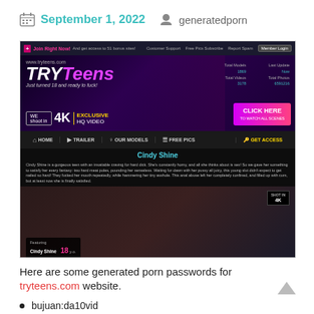September 1, 2022  generatedporn
[Figure (screenshot): Screenshot of tryteens.com adult website showing the homepage with branding, navigation, model 'Cindy Shine', and explicit content]
Here are some generated porn passwords for tryteens.com website.
bujuan:da10vid